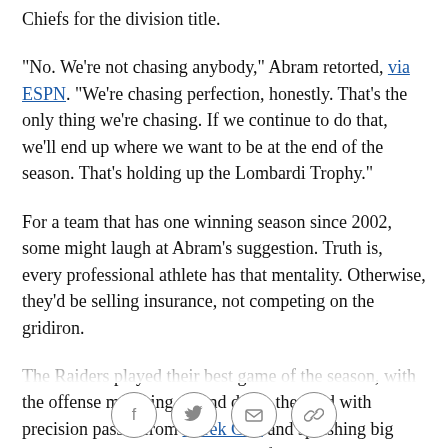Chiefs for the division title.
"No. We're not chasing anybody," Abram retorted, via ESPN. "We're chasing perfection, honestly. That's the only thing we're chasing. If we continue to do that, we'll end up where we want to be at the end of the season. That's holding up the Lombardi Trophy."
For a team that has one winning season since 2002, some might laugh at Abram's suggestion. Truth is, every professional athlete has that mentality. Otherwise, they'd be selling insurance, not competing on the gridiron.
The Raiders played their best game of the season, with the offense marching up and down the field with precision passes from Derek Carr and splashing big plays mixed in. Las Vegas scored five TDs and